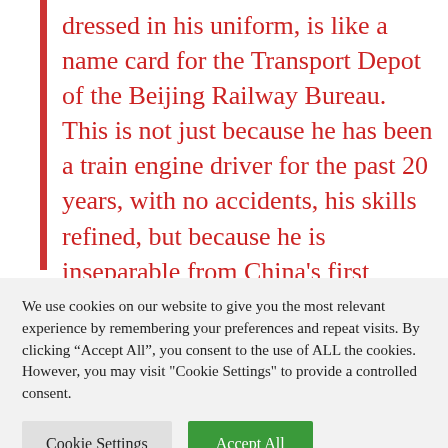dressed in his uniform, is like a name card for the Transport Depot of the Beijing Railway Bureau. This is not just because he has been a train engine driver for the past 20 years, with no accidents, his skills refined, but because he is inseparable from China's first high-speed railway, the Beijing-Tianjin intercity line. On March 16, 2008, Li Dongxiao was
We use cookies on our website to give you the most relevant experience by remembering your preferences and repeat visits. By clicking "Accept All", you consent to the use of ALL the cookies. However, you may visit "Cookie Settings" to provide a controlled consent.